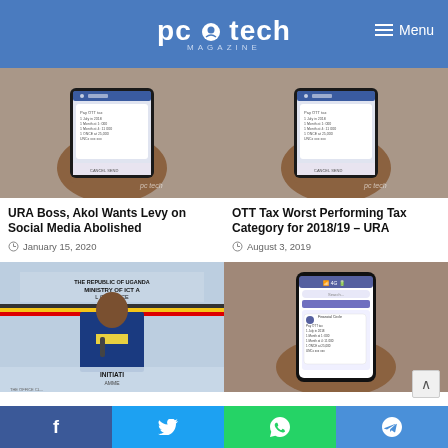PC Tech Magazine
[Figure (photo): Hand holding a smartphone displaying OTT tax SMS message - left card image]
[Figure (photo): Hand holding a smartphone displaying OTT tax SMS message - right card image]
URA Boss, Akol Wants Levy on Social Media Abolished
January 15, 2020
OTT Tax Worst Performing Tax Category for 2018/19 – URA
August 3, 2019
[Figure (photo): Man in blue suit speaking at Ministry of ICT and National Guidance podium]
[Figure (photo): Smartphone showing OTT tax related screen]